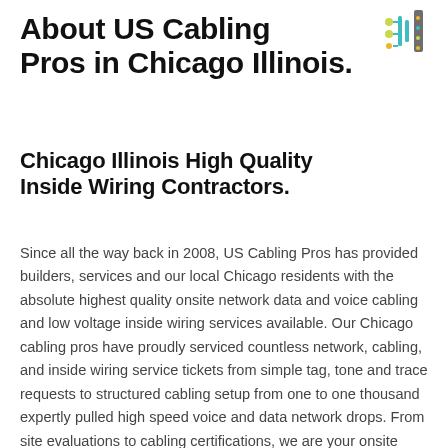[Figure (logo): US Cabling Pros logo icon — colorful circuit/network graphic in teal and yellow tones]
About US Cabling Pros in Chicago Illinois.
Chicago Illinois High Quality Inside Wiring Contractors.
Since all the way back in 2008, US Cabling Pros has provided builders, services and our local Chicago residents with the absolute highest quality onsite network data and voice cabling and low voltage inside wiring services available. Our Chicago cabling pros have proudly serviced countless network, cabling, and inside wiring service tickets from simple tag, tone and trace requests to structured cabling setup from one to one thousand expertly pulled high speed voice and data network drops. From site evaluations to cabling certifications, we are your onsite cabling pros in Chicago, so give us a call today: (859) 780-3061.